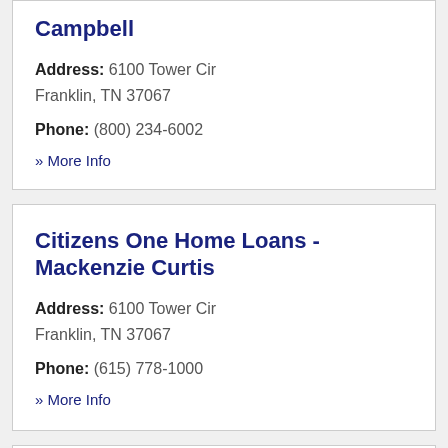Campbell
Address: 6100 Tower Cir Franklin, TN 37067
Phone: (800) 234-6002
» More Info
Citizens One Home Loans - Mackenzie Curtis
Address: 6100 Tower Cir Franklin, TN 37067
Phone: (615) 778-1000
» More Info
Clear Financial Strategies